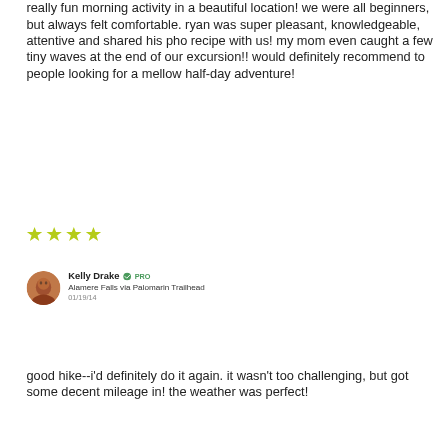really fun morning activity in a beautiful location! we were all beginners, but always felt comfortable. ryan was super pleasant, knowledgeable, attentive and shared his pho recipe with us! my mom even caught a few tiny waves at the end of our excursion!! would definitely recommend to people looking for a mellow half-day adventure!
[Figure (other): Four yellow/gold star rating icons]
Kelly Drake ✓ PRO
Alamere Falls via Palomarin Trailhead
01/19/14
good hike--i'd definitely do it again. it wasn't too challenging, but got some decent mileage in! the weather was perfect!